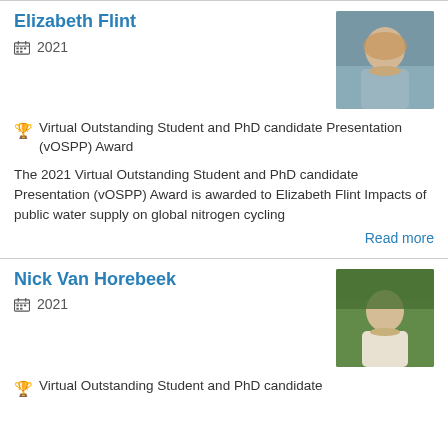Elizabeth Flint
2021
[Figure (photo): Photo of Elizabeth Flint, a young woman with curly hair outdoors]
Virtual Outstanding Student and PhD candidate Presentation (vOSPP) Award
The 2021 Virtual Outstanding Student and PhD candidate Presentation (vOSPP) Award is awarded to Elizabeth Flint Impacts of public water supply on global nitrogen cycling
Read more
Nick Van Horebeek
2021
[Figure (photo): Photo of Nick Van Horebeek, a young man with short blonde hair smiling outdoors]
Virtual Outstanding Student and PhD candidate